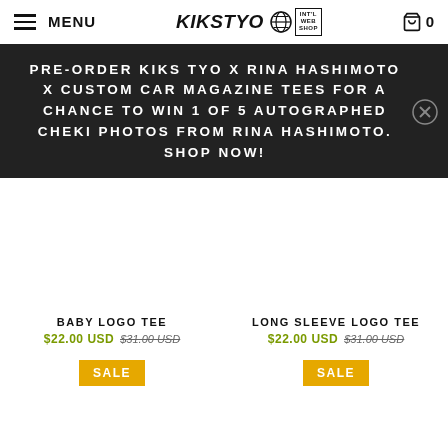MENU | KIKS TYO INTL WEB SHOP | 0
PRE-ORDER KIKS TYO X RINA HASHIMOTO X CUSTOM CAR MAGAZINE TEES FOR A CHANCE TO WIN 1 OF 5 AUTOGRAPHED CHEKI PHOTOS FROM RINA HASHIMOTO. SHOP NOW!
BABY LOGO TEE
$22.00 USD $31.00 USD
SALE
LONG SLEEVE LOGO TEE
$22.00 USD $31.00 USD
SALE